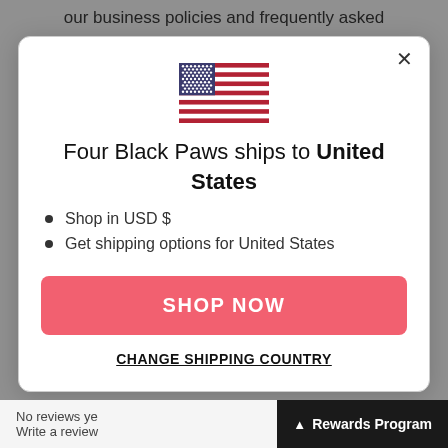our business policies and frequently asked
[Figure (illustration): US flag emoji / icon]
Four Black Paws ships to United States
Shop in USD $
Get shipping options for United States
SHOP NOW
CHANGE SHIPPING COUNTRY
No reviews ye...
Write a review...
Rewards Program